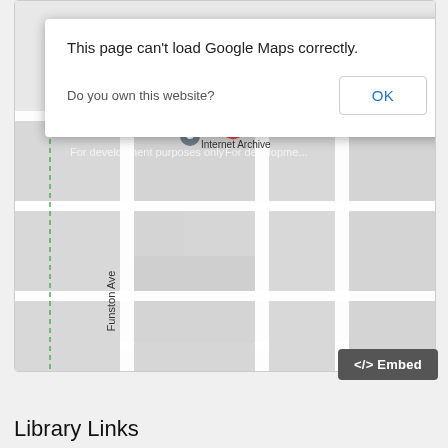[Figure (map): Google Maps embedded map showing Internet Archive location on Funston Ave, with 'For development purposes only' watermark. A red pin marker and a grey location pin labeled 'Internet Archive' are visible. Map shows street grid with Funston Ave labeled.]
This page can't load Google Maps correctly.
Do you own this website?
OK
</> Embed
Library Links